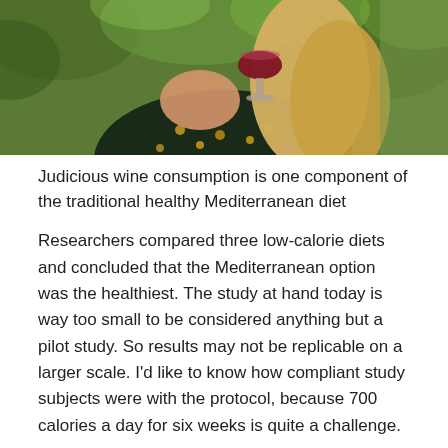[Figure (photo): Woman in floral dress drinking red wine from a glass, outdoors with greenery in background]
Judicious wine consumption is one component of the traditional healthy Mediterranean diet
Researchers compared three low-calorie diets and concluded that the Mediterranean option was the healthiest. The study at hand today is way too small to be considered anything but a pilot study. So results may not be replicable on a larger scale. I'd like to know how compliant study subjects were with the protocol, because 700 calories a day for six weeks is quite a challenge.
Link to article article
Comparison of short-term hypocaloric